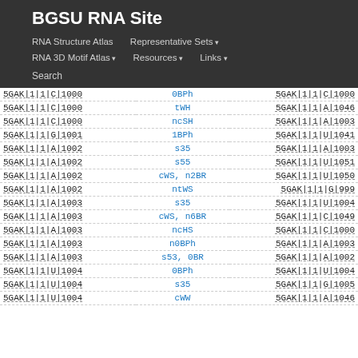BGSU RNA Site
RNA Structure Atlas  |  Representative Sets ▾
RNA 3D Motif Atlas ▾  |  Resources ▾  |  Links ▾
Search
| Column1 | Column2 | Column3 |
| --- | --- | --- |
| 5GAK|1|1|C|1000 | 0BPh | 5GAK|1|1|C|1000 |
| 5GAK|1|1|C|1000 | tWH | 5GAK|1|1|A|1046 |
| 5GAK|1|1|C|1000 | ncSH | 5GAK|1|1|A|1003 |
| 5GAK|1|1|G|1001 | 1BPh | 5GAK|1|1|U|1041 |
| 5GAK|1|1|A|1002 | s35 | 5GAK|1|1|A|1003 |
| 5GAK|1|1|A|1002 | s55 | 5GAK|1|1|U|1051 |
| 5GAK|1|1|A|1002 | cWS, n2BR | 5GAK|1|1|U|1050 |
| 5GAK|1|1|A|1002 | ntWS | 5GAK|1|1|G|999 |
| 5GAK|1|1|A|1003 | s35 | 5GAK|1|1|U|1004 |
| 5GAK|1|1|A|1003 | cWS, n6BR | 5GAK|1|1|C|1049 |
| 5GAK|1|1|A|1003 | ncHS | 5GAK|1|1|C|1000 |
| 5GAK|1|1|A|1003 | n0BPh | 5GAK|1|1|A|1003 |
| 5GAK|1|1|A|1003 | s53, 0BR | 5GAK|1|1|A|1002 |
| 5GAK|1|1|U|1004 | 0BPh | 5GAK|1|1|U|1004 |
| 5GAK|1|1|U|1004 | s35 | 5GAK|1|1|G|1005 |
| 5GAK|1|1|U|1004 | cWW | 5GAK|1|1|A|1046 |